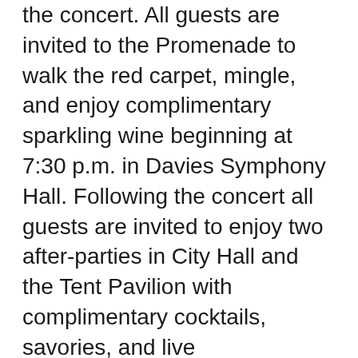the concert. All guests are invited to the Promenade to walk the red carpet, mingle, and enjoy complimentary sparkling wine beginning at 7:30 p.m. in Davies Symphony Hall. Following the concert all guests are invited to enjoy two after-parties in City Hall and the Tent Pavilion with complimentary cocktails, savories, and live entertainment by The Fundamentals, and Jonathan Poretz and a Swingin’ Night at the Sands. Proceeds from the event benefit the San Francisco Symphony’s education, community, and artistic programs, providing music education to more than 75,000 Bay Area children each year.
Jessye Norman is one of the world’s most celebrated sopranos. In February 2010, Norman